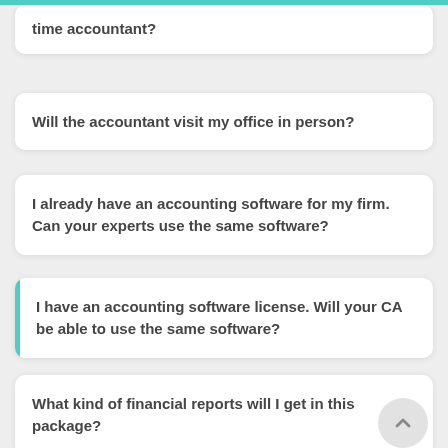time accountant?
Will the accountant visit my office in person?
I already have an accounting software for my firm. Can your experts use the same software?
I have an accounting software license. Will your CA be able to use the same software?
What kind of financial reports will I get in this package?
I am not using any accounting software. Will I get software access using this package?